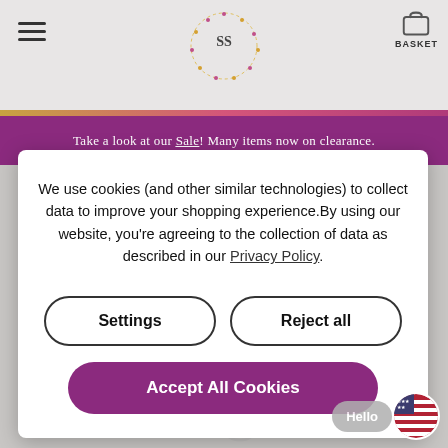BASKET
Take a look at our Sale! Many items now on clearance.
We use cookies (and other similar technologies) to collect data to improve your shopping experience.By using our website, you're agreeing to the collection of data as described in our Privacy Policy.
Settings
Reject all
Accept All Cookies
[Figure (screenshot): Silver necklace/jewelry product image in background]